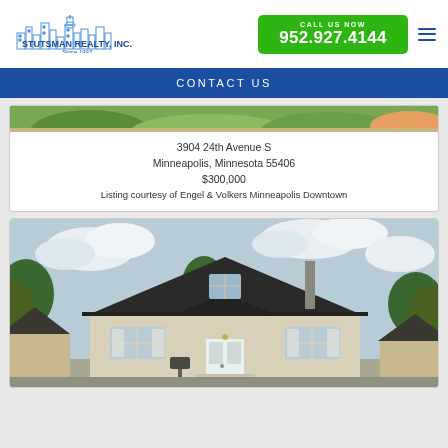[Figure (logo): Stutsman Realty, Inc. logo with city skyline illustration]
CALL US NOW
952.927.4144
CONTACT US
[Figure (photo): Partial view of garden/greenery at top of first listing card]
3904 24th Avenue S
Minneapolis, Minnesota 55406
$300,000
Listing courtesy of Engel & Volkers Minneapolis Downtown
[Figure (photo): Exterior photo of a bungalow-style house with triangular roof peak, white/cream stucco exterior, front door, windows, and surrounding trees under cloudy sky]